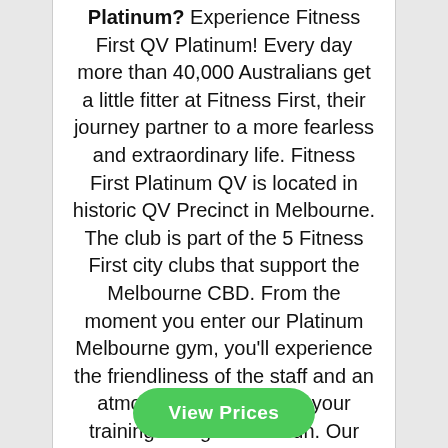Platinum? Experience Fitness First QV Platinum! Every day more than 40,000 Australians get a little fitter at Fitness First, their journey partner to a more fearless and extraordinary life. Fitness First Platinum QV is located in historic QV Precinct in Melbourne. The club is part of the 5 Fitness First city clubs that support the Melbourne CBD. From the moment you enter our Platinum Melbourne gym, you'll experience the friendliness of the staff and an atmosphere that makes your training energetic and fun. Our Platinum Fitness First Melbourne gym in QV is a great place to
View Prices